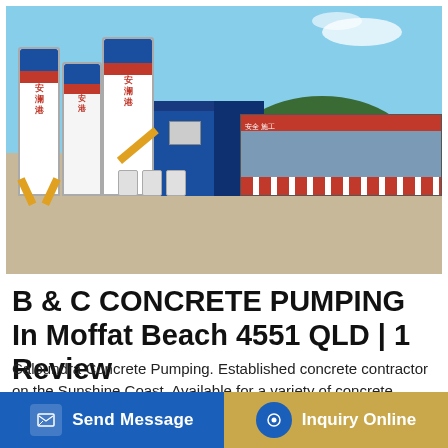[Figure (photo): Concrete batching plant with tall white and blue silos bearing Chinese characters, a blue industrial building, and a red-striped warehouse structure. Sandy ground, green hill and blue sky in background.]
B & C CONCRETE PUMPING In Moffat Beach 4551 QLD | 1 Review
Caloundra Concrete Pumping. Established concrete contractor on the Sunshine Coast. Available for a variety of concrete placement and pumping services. Service Areas Brisbane and the Sunshine Coast including • Nambour •